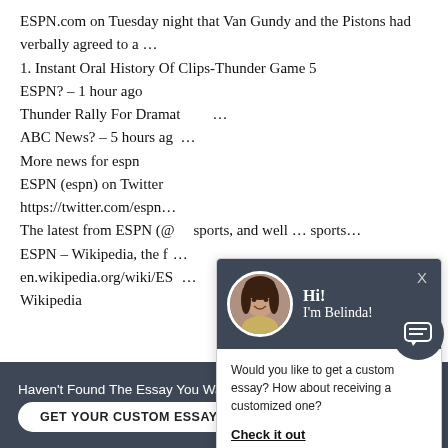ESPN.com on Tuesday night that Van Gundy and the Pistons had verbally agreed to a …
1. Instant Oral History Of Clips-Thunder Game 5
ESPN? – 1 hour ago
Thunder Rally For Dramatic Wi…
ABC News? – 5 hours ag…
More news for espn
ESPN (espn) on Twitter
https://twitter.com/espn…
The latest from ESPN (@… sports, and well … sports…
ESPN – Wikipedia, the f…
en.wikipedia.org/wiki/ES…
Wikipedia
[Figure (screenshot): Chat popup with avatar of woman named Belinda, asking 'Would you like to get a custom essay? How about receiving a customized one?' with 'Check it out' link, and an X close button]
Haven't Found The Essay You Want?  X
GET YOUR CUSTOM ESSAY   For Only $13.90/page